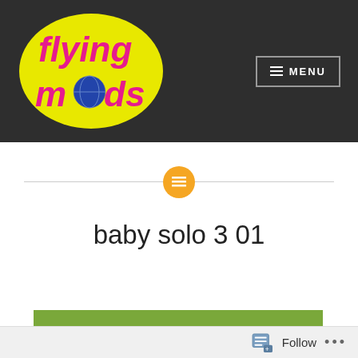[Figure (logo): Flying Mods logo: yellow oval with pink 'flying' text and magenta 'mods' text, with small globe image replacing the 'o' in mods]
≡ MENU
[Figure (infographic): Horizontal divider line with orange circle icon containing a text/list symbol in the center]
baby solo 3 01
[Figure (photo): Partial view of green grass/outdoor scene]
Follow ...